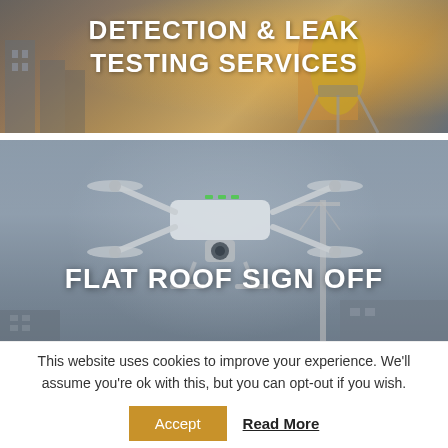[Figure (photo): Photo of a construction worker in a yellow hi-vis vest operating a surveying tripod at a construction site, with text overlay 'DETECTION & LEAK TESTING SERVICES']
DETECTION & LEAK TESTING SERVICES
[Figure (photo): Photo of a white quadcopter drone flying over a construction site with a crane and buildings in the background, with text overlay 'FLAT ROOF SIGN OFF']
FLAT ROOF SIGN OFF
This website uses cookies to improve your experience. We'll assume you're ok with this, but you can opt-out if you wish.